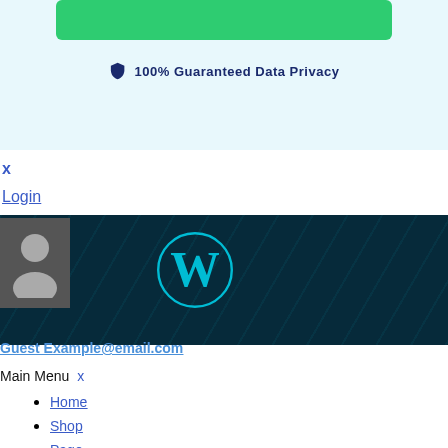[Figure (screenshot): Green rounded button bar at top of the page on a light blue background]
100% Guaranteed Data Privacy
x
Login
[Figure (screenshot): Dark teal banner with WordPress logo and user avatar icon]
Guest Example@email.com
Main Menu x
Home
Shop
Page
Fashion
Foods